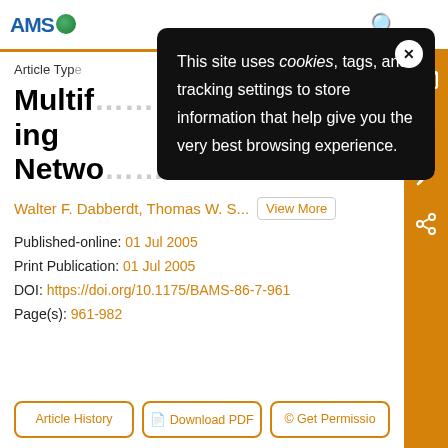AMS [logo] | search icon
[Figure (screenshot): Cookie consent popup overlay with black background, reading: 'This site uses cookies, tags, and tracking settings to store information that help give you the very best browsing experience.' with an X close button]
Article Type
Multif... ing Netwo...
Walter F. Dabberdt, Thomas W. S... View More
Published-online: 01 Jul 2005
Print Publication: 01 Jul 2005
DOI: https://doi.org/10.1175/BAMS-86-7-961
Page(s): 961-982
Article History | Download PDF | Get Permissio...